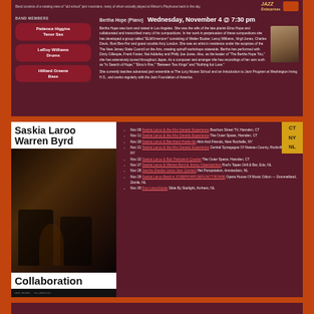Band consists of a rotating crew of 'old school' jazz musicians, many of whom actually played at Minton's Playhouse back in the day.
BAND MEMBERS
Patience Higgins Tenor Sax
LeRoy Williams Drums
Hilliard Greene Bass
Bertha Hope (Piano)   Wednesday, November 4 @ 7:30 pm
Bertha Hope was born and raised in Los Angeles. She was the wife of the late pianist Elmo Hope and collaborated and transcribed many of his compositions. In her work in perpetuation of these compositions she has developed a group called 'ELMOmentum' consisting of Walter Booker, Leroy Williams, Virgil Jones, Charles Davis, Roni Ben-Hur and guest vocalist Amy London. She was an artist in residence under the auspices of the The New Jersey State Council on the Arts, creating spinoff workshops statewide. Bertha has performed with Dizzy Gillespie, Frank Foster, Nat Adderley and Philly Joe Jones. Also, as the leader of 'The Bertha Hope Trio,' she has extensively toured throughout Japan. As a composer and arranger she has recordings of her own such as 'In Search of Hope,' 'Elmo's Fire,' 'Between Two Kings' and 'Nothing but Love.' She currently teaches advanced jazz ensemble at The Lucy Moses School and an Introduction to Jazz Program at Washington Irving H.S., and works regularly with the Jazz Foundation of America.
[Figure (illustration): Album cover for Saskia Laroo / Warren Byrd Collaboration showing two musicians]
CT NY NL
Nov 09 Saskia Laroo & the Afro Genetic Experience Bourbon Street TV, Hamden, CT
Nov 11 Saskia Laroo & the Afro Genetic Experience The Outer Space, Hamden, CT
Nov 20 Saskia Laroo & Bernhard Huele-Ike Akin And Friends, New Rochelle, NY
Nov 21 Saskia Laroo & the Afro Genetic Experience Central Synagogue Of Nassau County, Rockville Centre, NY
Nov 22 Saskia Laroo & Bob Parlorenzi Quartet The Outer Space, Hamden, CT
Nov 27 Saskia Laroo & Warren Byrd & Jimmy Glaentaerfers Rod's Tapas Grill & Bar, Edo, NL
Nov 28 Jascha (Saskia Laroo Jazz Quintet) Het Pompstation, Amsterdam, NL
Nov 29 Saskia Laroo Band w JOSEPH MR DEFUNCT BOWIE Opera House Of Music Odion — Dommelland, Zemle, NL
Nov 30 Duo LarooGarde Slide By Starlight, Arnhem, NL